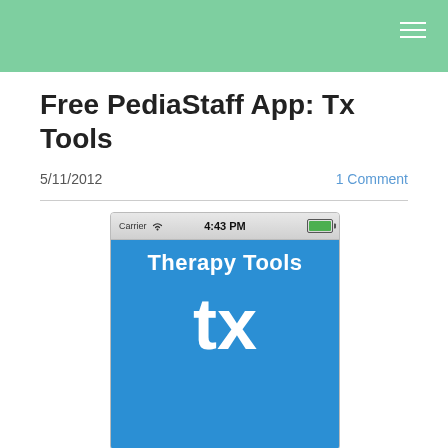Free PediaStaff App: Tx Tools
5/11/2012
1 Comment
[Figure (screenshot): iPhone screenshot showing a blue app screen with 'Therapy Tools' text at the top and large white 'tx' letters below on a blue background. Status bar shows Carrier, WiFi icon, 4:43 PM, and green battery.]